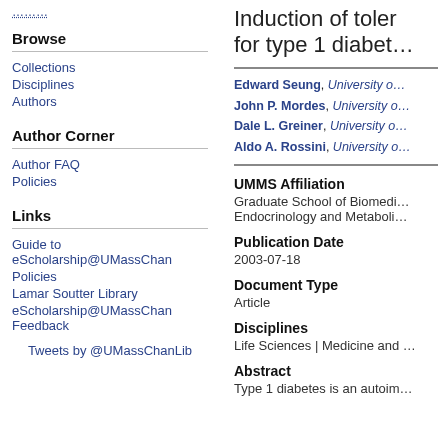Notify me via email or …
Browse
Collections
Disciplines
Authors
Author Corner
Author FAQ
Policies
Links
Guide to eScholarship@UMassChan
Policies
Lamar Soutter Library
eScholarship@UMassChan Feedback
Tweets by @UMassChanLib
Induction of toler… for type 1 diabet…
Edward Seung, University o…
John P. Mordes, University o…
Dale L. Greiner, University o…
Aldo A. Rossini, University o…
UMMS Affiliation
Graduate School of Biomedi… Endocrinology and Metaboli…
Publication Date
2003-07-18
Document Type
Article
Disciplines
Life Sciences | Medicine and …
Abstract
Type 1 diabetes is an autoim…